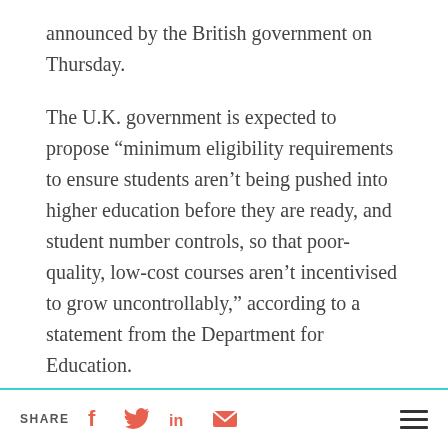announced by the British government on Thursday.
The U.K. government is expected to propose “minimum eligibility requirements to ensure students aren’t being pushed into higher education before they are ready, and student number controls, so that poor-quality, low-cost courses aren’t incentivised to grow uncontrollably,” according to a statement from the Department for Education.
The proposals come in the wake of a review into the funding of higher education funding in the
SHARE